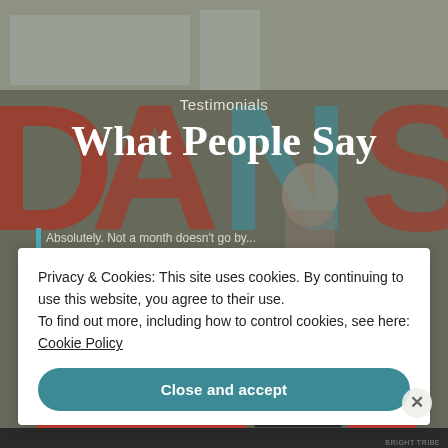[Figure (photo): Background photo of a room with large colorful letters spelling DANS, with people visible. Dark overlay applied.]
Testimonials
What People Say
Privacy & Cookies: This site uses cookies. By continuing to use this website, you agree to their use.
To find out more, including how to control cookies, see here: Cookie Policy
Close and accept